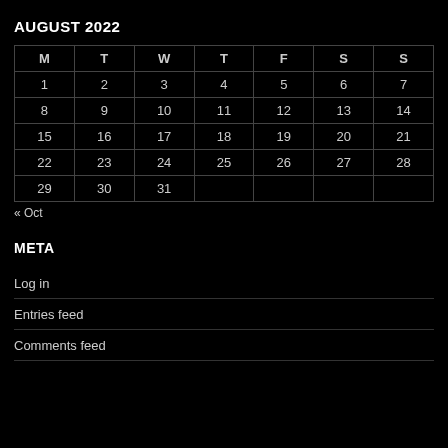AUGUST 2022
| M | T | W | T | F | S | S |
| --- | --- | --- | --- | --- | --- | --- |
| 1 | 2 | 3 | 4 | 5 | 6 | 7 |
| 8 | 9 | 10 | 11 | 12 | 13 | 14 |
| 15 | 16 | 17 | 18 | 19 | 20 | 21 |
| 22 | 23 | 24 | 25 | 26 | 27 | 28 |
| 29 | 30 | 31 |  |  |  |  |
« Oct
META
Log in
Entries feed
Comments feed